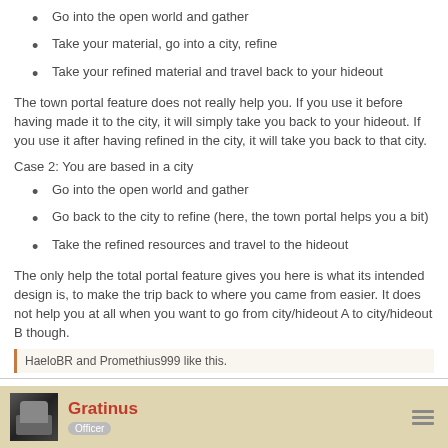Go into the open world and gather
Take your material, go into a city, refine
Take your refined material and travel back to your hideout
The town portal feature does not really help you. If you use it before having made it to the city, it will simply take you back to your hideout. If you use it after having refined in the city, it will take you back to that city.
Case 2: You are based in a city
Go into the open world and gather
Go back to the city to refine (here, the town portal helps you a bit)
Take the refined resources and travel to the hideout
The only help the total portal feature gives you here is what its intended design is, to make the trip back to where you came from easier. It does not help you at all when you want to go from city/hideout A to city/hideout B though.
HaeloBR and Promethius999 like this.
Gratinus
Officer